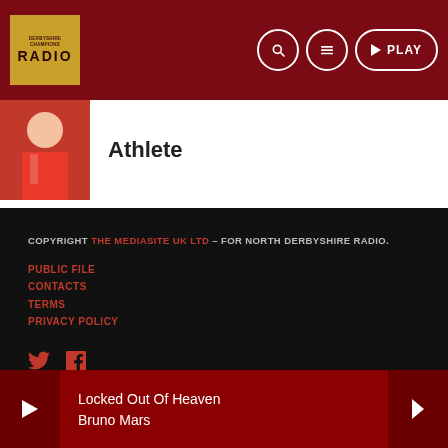[Figure (logo): North Derbyshire Radio logo - gold square with RADIO text]
Search | Menu | PLAY
[Figure (photo): Athlete in red racing suit]
Athlete
COPYRIGHT THE MEDIASITE UK LTD – FOR NORTH DERBYSHIRE RADIO.
PUBLIC FILE
CONTACTS
TERMS
PRIVACY POLICY
[Figure (other): Twitter and Facebook social media icons in red]
Locked Out Of Heaven Bruno Mars